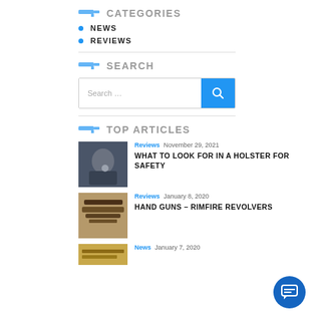CATEGORIES
NEWS
REVIEWS
SEARCH
[Figure (screenshot): Search input box with blue search button]
TOP ARTICLES
[Figure (photo): Person with gun in holster]
Reviews November 29, 2021
WHAT TO LOOK FOR IN A HOLSTER FOR SAFETY
[Figure (photo): Hand guns on sandy surface]
Reviews January 8, 2020
HAND GUNS – RIMFIRE REVOLVERS
[Figure (photo): Partially visible third article thumbnail]
News January 7, 2020